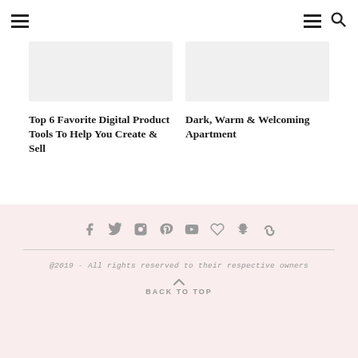Navigation header with hamburger menu and search icon
[Figure (illustration): Placeholder image thumbnail, light gray rectangle]
Top 6 Favorite Digital Product Tools To Help You Create & Sell
[Figure (illustration): Placeholder image thumbnail, light gray rectangle]
Dark, Warm & Welcoming Apartment
@2019 - All rights reserved to their respective owners
BACK TO TOP